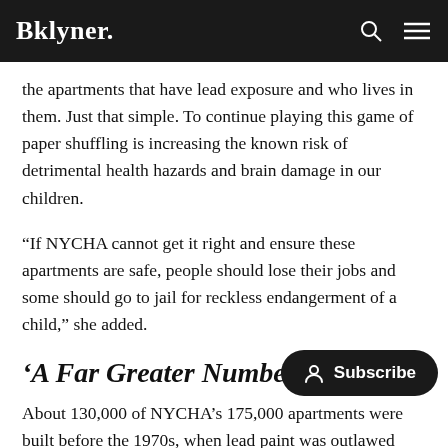Bklyner.
the apartments that have lead exposure and who lives in them. Just that simple. To continue playing this game of paper shuffling is increasing the known risk of detrimental health hazards and brain damage in our children.
“If NYCHA cannot get it right and ensure these apartments are safe, people should lose their jobs and some should go to jail for reckless endangerment of a child,” she added.
‘A Far Greater Number’
About 130,000 of NYCHA’s 175,000 apartments were built before the 1970s, when lead paint was outlawed